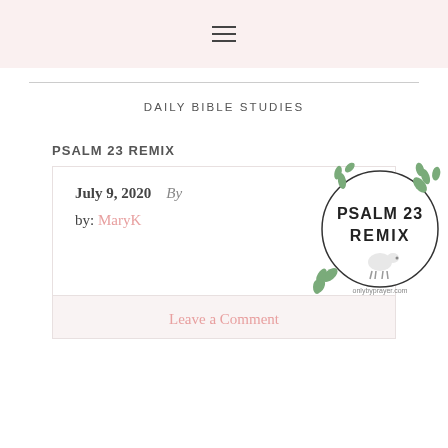≡ (hamburger menu icon)
DAILY BIBLE STUDIES
PSALM 23 REMIX
July 9, 2020   By

by: MaryK
[Figure (logo): Circular logo with leaf wreath border, text 'PSALM 23 REMIX' in bold, a small sheep illustration, and 'onlybyprayer.com' text at bottom]
Leave a Comment